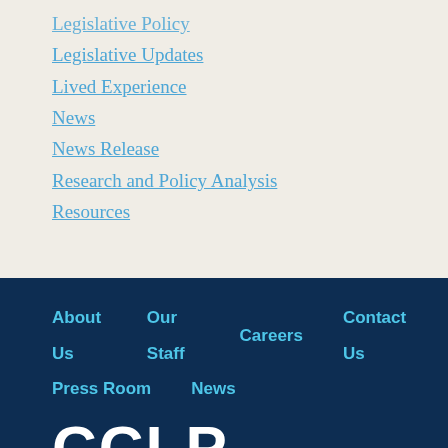Legislative Policy
Legislative Updates
Lived Experience
News
News Release
Research and Policy Analysis
Resources
About Us   Our Staff   Careers   Contact Us   Press Room   News
[Figure (logo): CCLP logo in white on dark navy blue background]